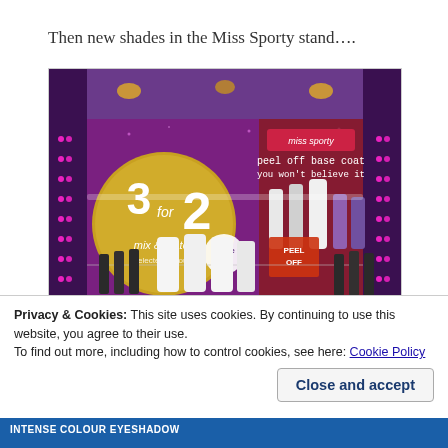Then new shades in the Miss Sporty stand….
[Figure (photo): Photo of a Miss Sporty cosmetics retail display stand with pink LED lighting on the sides. The stand shows nail polish bottles arranged on shelves, with a promotional banner reading '3 for 2 mix & match' and 'miss sporty peel off base coat you won't believe it'. A 'Triple' badge and 'PEEL OFF' product packaging are visible.]
Privacy & Cookies: This site uses cookies. By continuing to use this website, you agree to their use.
To find out more, including how to control cookies, see here: Cookie Policy
Close and accept